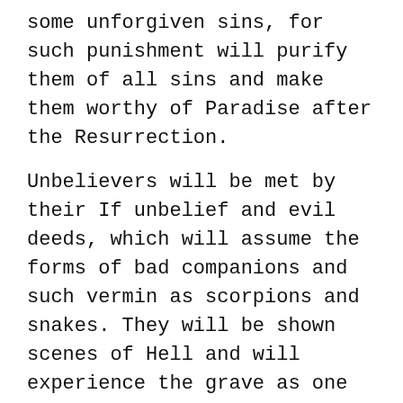some unforgiven sins, for such punishment will purify them of all sins and make them worthy of Paradise after the Resurrection.
Unbelievers will be met by their If unbelief and evil deeds, which will assume the forms of bad companions and such vermin as scorpions and snakes. They will be shown scenes of Hell and will experience the grave as one of Hell’s pits.
Q:Do some bodily parts or cells remain alive after death?
While we live in this world, it is our